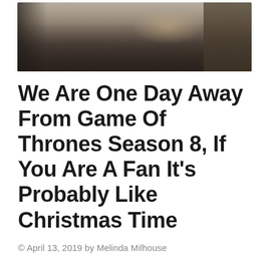[Figure (photo): Still from Game of Thrones showing a figure in medieval/fantasy costume with a large creature or dragon in a misty, moody outdoor scene]
We Are One Day Away From Game Of Thrones Season 8, If You Are A Fan It’s Probably Like Christmas Time
© April 13, 2019 by Melinda Milhouse